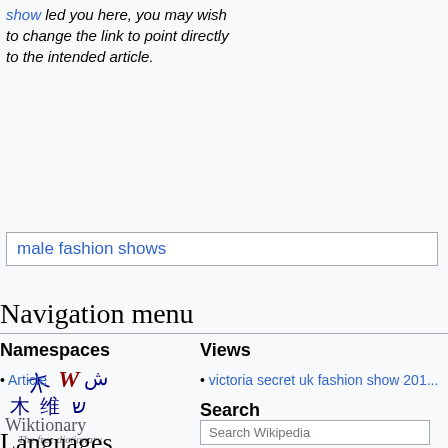show led you here, you may wish to change the link to point directly to the intended article.
male fashion shows
Navigation menu
Namespaces
Views
Article
victoria secret uk fashion show 201...
[Figure (logo): Wiktionary - The free dictionary logo with multilingual characters]
Search
Search Wikipedia
Languages